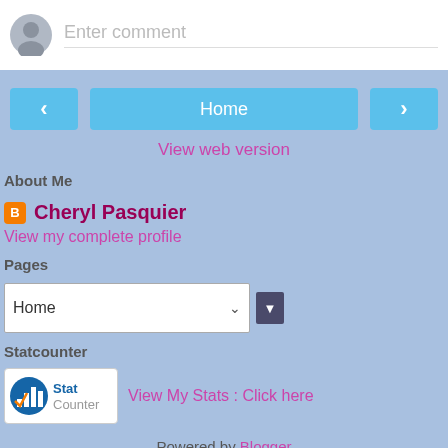[Figure (screenshot): Comment input box with gray avatar icon and 'Enter comment' placeholder text]
[Figure (screenshot): Navigation row with left arrow button, Home button, and right arrow button in blue]
View web version
About Me
Cheryl Pasquier
View my complete profile
Pages
[Figure (screenshot): Dropdown selector showing 'Home' with arrow button]
Statcounter
[Figure (logo): StatCounter logo badge — blue icon with bar chart bars and text 'Stat Counter']
View My Stats : Click here
Powered by Blogger